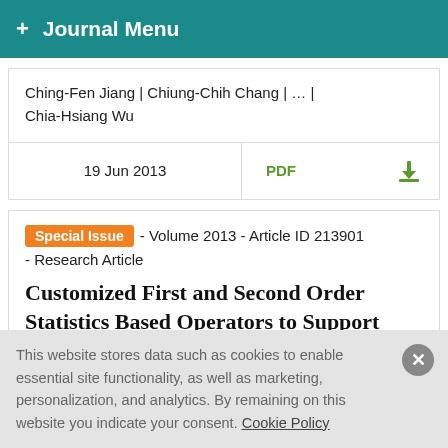+ Journal Menu
Ching-Fen Jiang | Chiung-Chih Chang | ... | Chia-Hsiang Wu
19 Jun 2013  PDF
Special Issue - Volume 2013 - Article ID 213901 - Research Article
Customized First and Second Order Statistics Based Operators to Support
This website stores data such as cookies to enable essential site functionality, as well as marketing, personalization, and analytics. By remaining on this website you indicate your consent. Cookie Policy